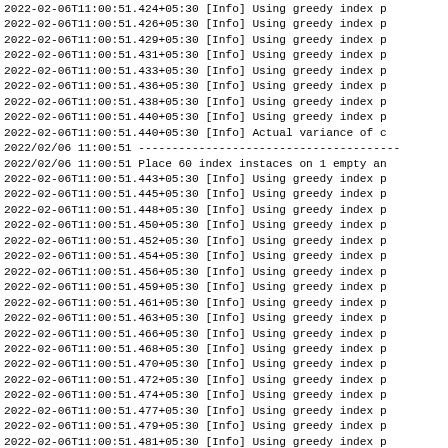2022-02-06T11:00:51.424+05:30 [Info] Using greedy index
2022-02-06T11:00:51.426+05:30 [Info] Using greedy index
2022-02-06T11:00:51.429+05:30 [Info] Using greedy index
2022-02-06T11:00:51.431+05:30 [Info] Using greedy index
2022-02-06T11:00:51.433+05:30 [Info] Using greedy index
2022-02-06T11:00:51.436+05:30 [Info] Using greedy index
2022-02-06T11:00:51.438+05:30 [Info] Using greedy index
2022-02-06T11:00:51.440+05:30 [Info] Using greedy index
2022-02-06T11:00:51.440+05:30 [Info] Actual variance of
2022/02/06 11:00:51 -------------------------------------------
2022/02/06 11:00:51 Place 60 index instaces on 1 empty an
2022-02-06T11:00:51.443+05:30 [Info] Using greedy index
2022-02-06T11:00:51.445+05:30 [Info] Using greedy index
2022-02-06T11:00:51.448+05:30 [Info] Using greedy index
2022-02-06T11:00:51.450+05:30 [Info] Using greedy index
2022-02-06T11:00:51.452+05:30 [Info] Using greedy index
2022-02-06T11:00:51.454+05:30 [Info] Using greedy index
2022-02-06T11:00:51.456+05:30 [Info] Using greedy index
2022-02-06T11:00:51.459+05:30 [Info] Using greedy index
2022-02-06T11:00:51.461+05:30 [Info] Using greedy index
2022-02-06T11:00:51.463+05:30 [Info] Using greedy index
2022-02-06T11:00:51.466+05:30 [Info] Using greedy index
2022-02-06T11:00:51.468+05:30 [Info] Using greedy index
2022-02-06T11:00:51.470+05:30 [Info] Using greedy index
2022-02-06T11:00:51.472+05:30 [Info] Using greedy index
2022-02-06T11:00:51.474+05:30 [Info] Using greedy index
2022-02-06T11:00:51.477+05:30 [Info] Using greedy index
2022-02-06T11:00:51.479+05:30 [Info] Using greedy index
2022-02-06T11:00:51.481+05:30 [Info] Using greedy index
2022-02-06T11:00:51.484+05:30 [Info] Using greedy index
2022-02-06T11:00:51.486+05:30 [Info] Using greedy index